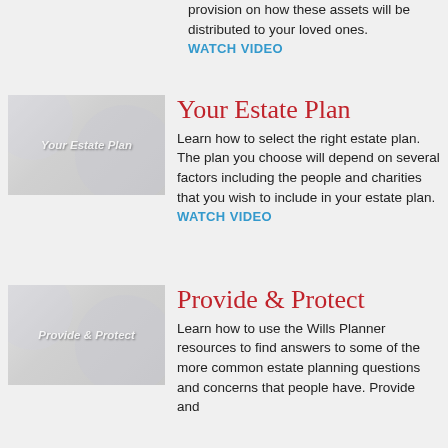provision on how these assets will be distributed to your loved ones. WATCH VIDEO
[Figure (illustration): Thumbnail image for 'Your Estate Plan' video, light gray background with circular decorative elements and italic white text label 'Your Estate Plan']
Your Estate Plan
Learn how to select the right estate plan. The plan you choose will depend on several factors including the people and charities that you wish to include in your estate plan. WATCH VIDEO
[Figure (illustration): Thumbnail image for 'Provide & Protect' video, light gray background with circular decorative elements and italic white text label 'Provide & Protect']
Provide & Protect
Learn how to use the Wills Planner resources to find answers to some of the more common estate planning questions and concerns that people have. Provide and